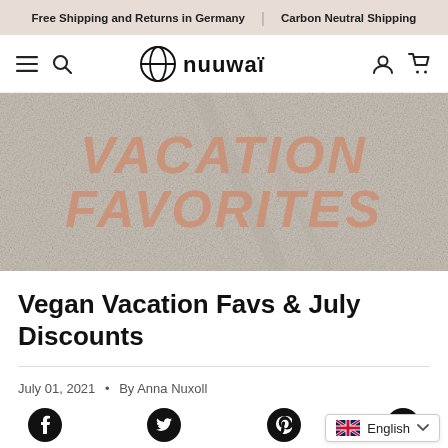Free Shipping and Returns in Germany | Carbon Neutral Shipping
[Figure (logo): nuuwai brand logo with circular icon and stylized text]
[Figure (photo): Hero banner image with sandy/beach background and large text overlay reading VACATION FAVORITES in salmon/terracotta italic font]
Vegan Vacation Favs & July Discounts
July 01, 2021 • By Anna Nuxoll
[Figure (infographic): Social sharing icons: Facebook, Twitter, Pinterest, and a language selector showing English with UK flag]